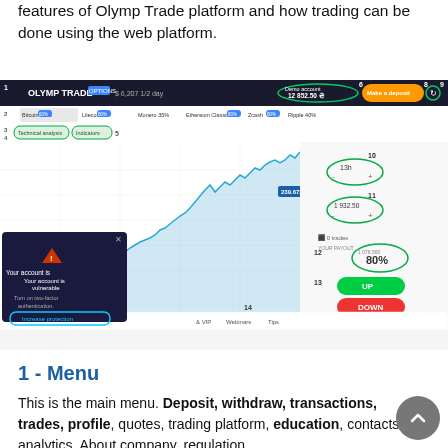features of Olymp Trade platform and how trading can be done using the web platform.
[Figure (screenshot): Screenshot of Olymp Trade web trading platform interface with numbered annotations (1-14) highlighting various UI elements including menu, asset tabs, chart, account balance, deposit button, time selector, amount selector, trade controls, and a security warning popup.]
1 - Menu
This is the main menu. Deposit, withdraw, transactions, trades, profile, quotes, trading platform, education, contacts, analytics, About company, regulation...